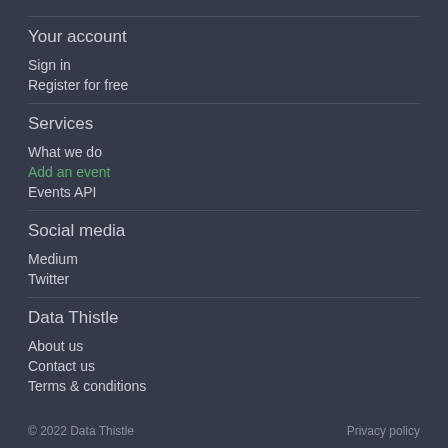Your account
Sign in
Register for free
Services
What we do
Add an event
Events API
Social media
Medium
Twitter
Data Thistle
About us
Contact us
Terms & conditions
© 2022 Data Thistle    Privacy policy